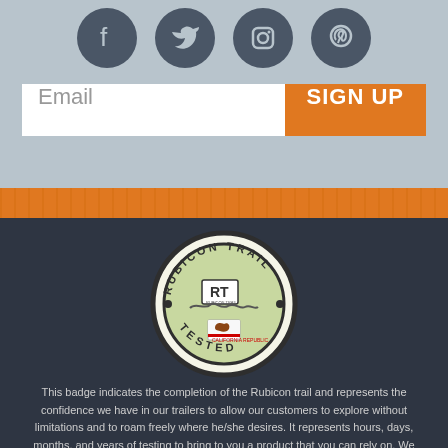[Figure (illustration): Four social media icons (Facebook, Twitter, Instagram, Pinterest) as dark gray circles on a light gray background]
[Figure (illustration): Email input field with 'Email' placeholder text and orange 'SIGN UP' button]
[Figure (illustration): Orange horizontal stripe with texture pattern]
[Figure (logo): Rubicon Trail badge/logo — circular badge with 'RUBICON TRAIL' text on top arc, 'RT' initials, trail map graphic, California state flag, and 'TESTED' text on bottom arc]
This badge indicates the completion of the Rubicon trail and represents the confidence we have in our trailers to allow our customers to explore without limitations and to roam freely where he/she desires. It represents hours, days, months, and years of testing to bring to you a product that you can rely on. We are proud of this badge because it represents the fruits of our labor created and